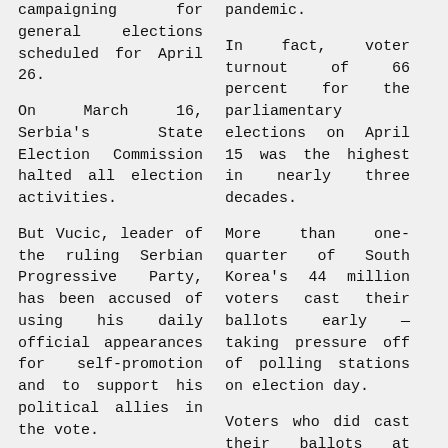campaigning for general elections scheduled for April 26.
On March 16, Serbia's State Election Commission halted all election activities.
But Vucic, leader of the ruling Serbian Progressive Party, has been accused of using his daily official appearances for self-promotion and to support his political allies in the vote.
After Vucic traveled personally to Novi Pazar to deliver
pandemic.
In fact, voter turnout of 66 percent for the parliamentary elections on April 15 was the highest in nearly three decades.
More than one-quarter of South Korea's 44 million voters cast their ballots early — taking pressure off of polling stations on election day.
Voters who did cast their ballots at polling stations were handed face masks and gloves, just as candidates had done to campaign.